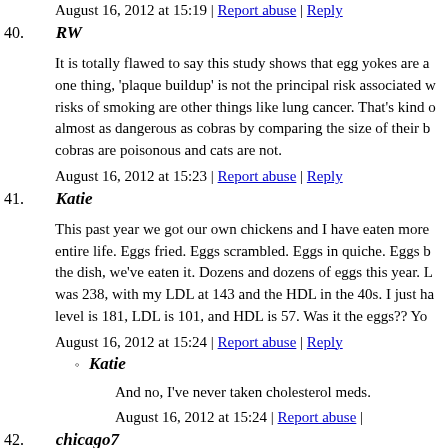August 16, 2012 at 15:19 | Report abuse | Reply
40. RW
It is totally flawed to say this study shows that egg yokes are a one thing, 'plaque buildup' is not the principal risk associated w risks of smoking are other things like lung cancer. That's kind o almost as dangerous as cobras by comparing the size of their b cobras are poisonous and cats are not.
August 16, 2012 at 15:23 | Report abuse | Reply
41. Katie
This past year we got our own chickens and I have eaten more entire life. Eggs fried. Eggs scrambled. Eggs in quiche. Eggs b the dish, we've eaten it. Dozens and dozens of eggs this year. L was 238, with my LDL at 143 and the HDL in the 40s. I just ha level is 181, LDL is 101, and HDL is 57. Was it the eggs?? Yo
August 16, 2012 at 15:24 | Report abuse | Reply
Katie
And no, I've never taken cholesterol meds.
August 16, 2012 at 15:24 | Report abuse |
42. chicago7